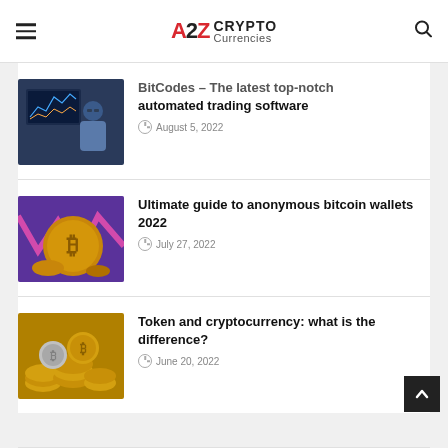A2Z CRYPTO Currencies
[Figure (photo): Person sitting at trading screen monitors]
BitCodes – The latest top-notch automated trading software
August 5, 2022
[Figure (photo): Bitcoin coin with pink and blue background with chart line]
Ultimate guide to anonymous bitcoin wallets 2022
July 27, 2022
[Figure (photo): Pile of gold and silver cryptocurrency coins]
Token and cryptocurrency: what is the difference?
June 20, 2022